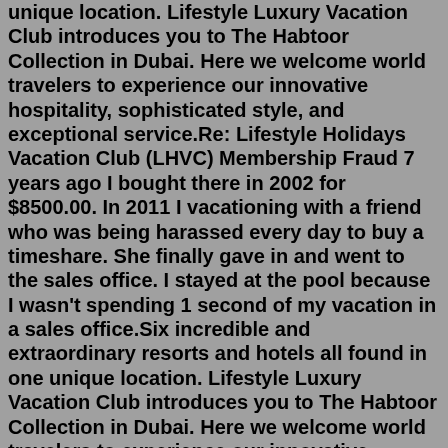unique location. Lifestyle Luxury Vacation Club introduces you to The Habtoor Collection in Dubai. Here we welcome world travelers to experience our innovative hospitality, sophisticated style, and exceptional service.Re: Lifestyle Holidays Vacation Club (LHVC) Membership Fraud 7 years ago I bought there in 2002 for $8500.00. In 2011 I vacationing with a friend who was being harassed every day to buy a timeshare. She finally gave in and went to the sales office. I stayed at the pool because I wasn't spending 1 second of my vacation in a sales office.Six incredible and extraordinary resorts and hotels all found in one unique location. Lifestyle Luxury Vacation Club introduces you to The Habtoor Collection in Dubai. Here we welcome world travelers to experience our innovative hospitality, sophisticated style, and exceptional service.Lifestyle Holidays Vacation Club [LHVC] contacts Phone number +1 809 970 7777 Website lifestyleholidaysvc.com View all Lifestyle Holidays Vacation Club [LHVC] contacts ADVERTISIMENT Most discussed Lifestyle